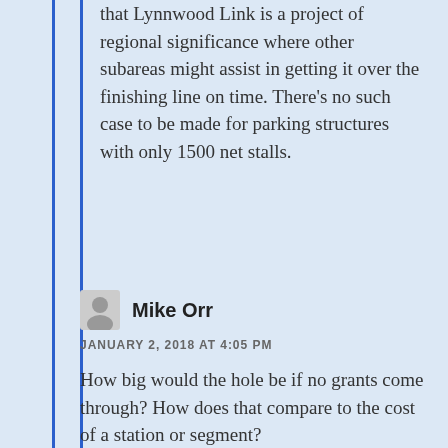that Lynnwood Link is a project of regional significance where other subareas might assist in getting it over the finishing line on time. There's no such case to be made for parking structures with only 1500 net stalls.
Mike Orr
JANUARY 2, 2018 AT 4:05 PM
How big would the hole be if no grants come through? How does that compare to the cost of a station or segment?